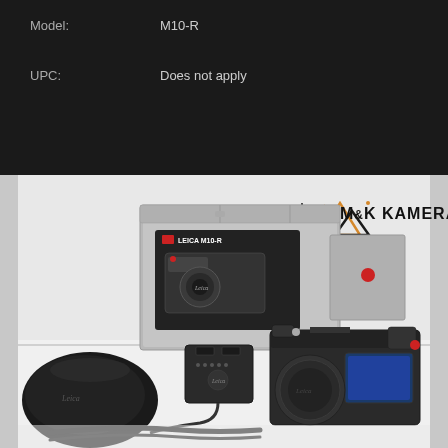Model:   M10-R
UPC:   Does not apply
[Figure (photo): Product photo of Leica M10-R camera with original box, charger, soft pouch, and strap laid out on a white surface. M&K KAMERA logo visible in top right of image.]